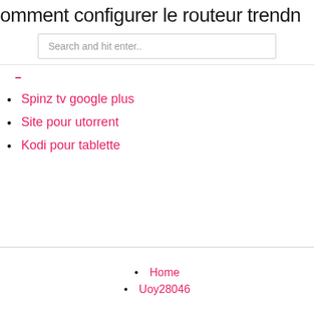omment configurer le routeur trendn
Search and hit enter..
Spinz tv google plus
Site pour utorrent
Kodi pour tablette
Home
Uoy28046